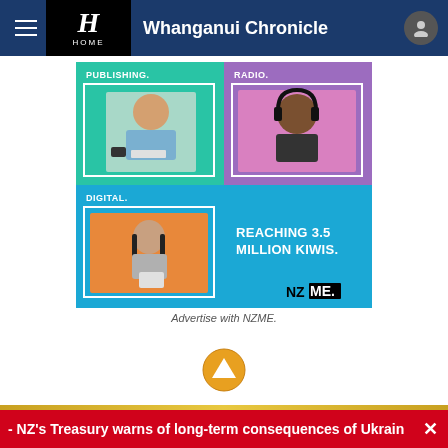Whanganui Chronicle
[Figure (advertisement): NZME advertisement showing three sections: Publishing (man with coffee and newspaper on teal background), Radio (man with headphones on purple background), Digital (woman on blue background), with text 'REACHING 3.5 MILLION KIWIS.' and NZME logo]
Advertise with NZME.
NZ's Treasury warns of long-term consequences of Ukrain